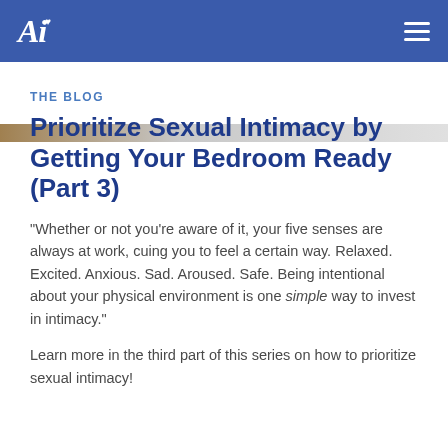Ai [logo with hamburger menu]
[Figure (photo): Partial image strip showing bedroom scene at top of article]
THE BLOG
Prioritize Sexual Intimacy by Getting Your Bedroom Ready (Part 3)
"Whether or not you're aware of it, your five senses are always at work, cuing you to feel a certain way. Relaxed. Excited. Anxious. Sad. Aroused. Safe. Being intentional about your physical environment is one simple way to invest in intimacy."
Learn more in the third part of this series on how to prioritize sexual intimacy!